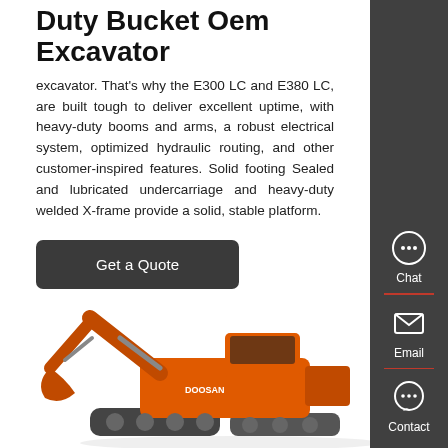Duty Bucket Oem Excavator
excavator. That's why the E300 LC and E380 LC, are built tough to deliver excellent uptime, with heavy-duty booms and arms, a robust electrical system, optimized hydraulic routing, and other customer-inspired features. Solid footing Sealed and lubricated undercarriage and heavy-duty welded X-frame provide a solid, stable platform.
[Figure (screenshot): Dark grey rounded button with white text reading 'Get a Quote']
[Figure (photo): Orange Doosan heavy-duty excavator on a white background, showing the boom, arm, and bucket assembly]
[Figure (infographic): Dark grey sidebar with Chat, Email, and Contact icons and labels, separated by red horizontal dividers]